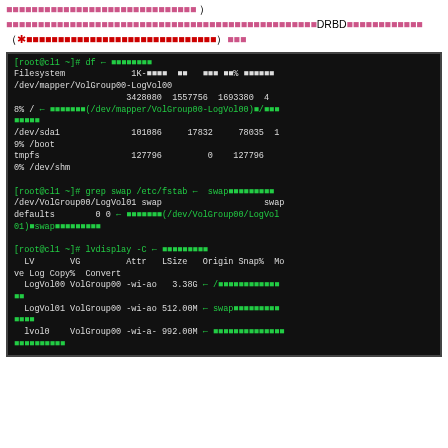（/dev/mapper/VolGroup00/LogVol00）にマウントされています。ということはDRBDのデバイスは（※注意：DRBDの設定例ではデバイスを/dev/drbdXとしていました）です。
[Figure (screenshot): Terminal output showing df command, grep swap /etc/fstab command, and lvdisplay -C command with filesystem and LVM volume information on Linux system cl1. Contains white and green monospace text on black background.]